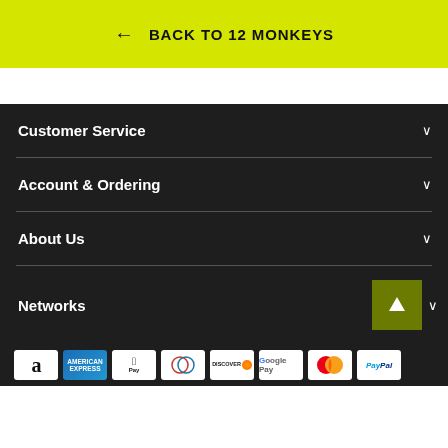← BACK TO 12 MONKEYS
Customer Service
Account & Ordering
About Us
Networks
[Figure (other): Row of payment method icons: Amazon, Amex, Apple Pay, Diners Club, Discover, Google Pay, Mastercard, PayPal]